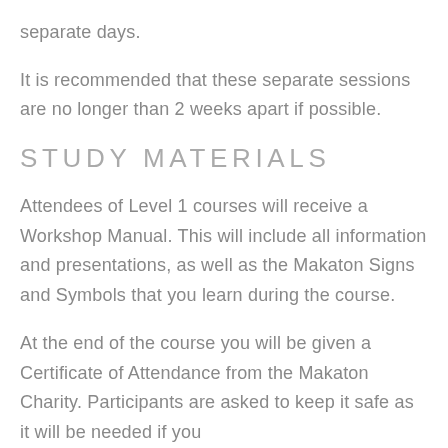separate days.
It is recommended that these separate sessions are no longer than 2 weeks apart if possible.
Study Materials
Attendees of Level 1 courses will receive a Workshop Manual. This will include all information and presentations, as well as the Makaton Signs and Symbols that you learn during the course.
At the end of the course you will be given a Certificate of Attendance from the Makaton Charity. Participants are asked to keep it safe as it will be needed if you